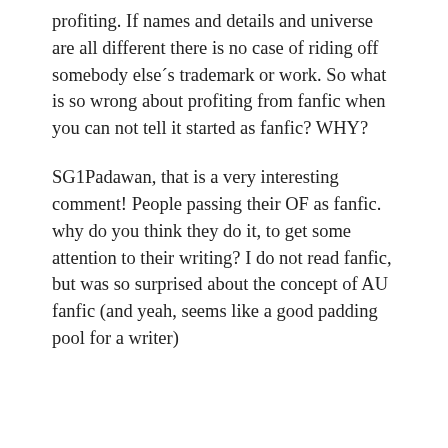profiting. If names and details and universe are all different there is no case of riding off somebody else´s trademark or work. So what is so wrong about profiting from fanfic when you can not tell it started as fanfic? WHY?
SG1Padawan, that is a very interesting comment! People passing their OF as fanfic. why do you think they do it, to get some attention to their writing? I do not read fanfic, but was so surprised about the concept of AU fanfic (and yeah, seems like a good padding pool for a writer)